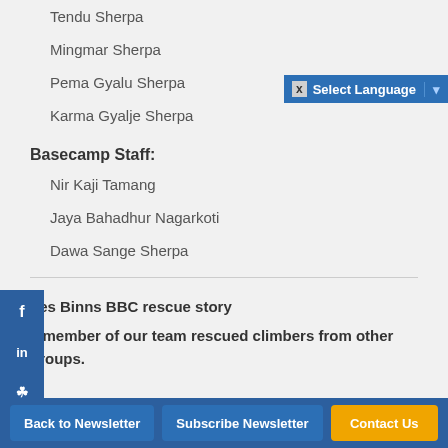Tendu Sherpa
Mingmar Sherpa
Pema Gyalu Sherpa
Karma Gyalje Sherpa
Basecamp Staff:
Nir Kaji Tamang
Jaya Bahadhur Nagarkoti
Dawa Sange Sherpa
Les Binns BBC rescue story
1 member of our team rescued climbers from other groups.
Back to Newsletter | Subscribe Newsletter | Contact Us